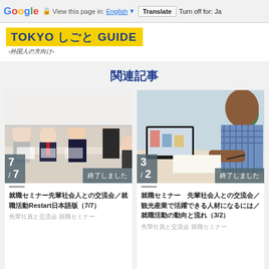Google  View this page in: English  Translate  Turn off for: Ja
TOKYO しごと GUIDE -外国人の方向け-
関連記事
[Figure (photo): Group of Japanese business professionals in a meeting/seminar setting, with a standing woman presenting and others seated at a table taking notes]
7/7 終了しました
就職セミナー先輩社会人との交流会／就職活動Restart日本語版（7/7）
先輩社員と交流会 就職セミナー
[Figure (photo): A man writing/studying at a desk with a laptop and coffee cup visible, in an office environment]
3/2 終了しました
就職セミナー　先輩社会人との交流会／観光産業で活躍できる人材になるには／就職活動の動向と流れ（3/2）
先輩社員と交流会 就職セミナー